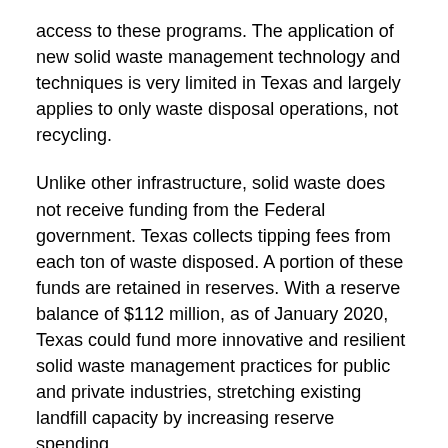access to these programs. The application of new solid waste management technology and techniques is very limited in Texas and largely applies to only waste disposal operations, not recycling.
Unlike other infrastructure, solid waste does not receive funding from the Federal government. Texas collects tipping fees from each ton of waste disposed. A portion of these funds are retained in reserves. With a reserve balance of $112 million, as of January 2020, Texas could fund more innovative and resilient solid waste management practices for public and private industries, stretching existing landfill capacity by increasing reserve spending.
While the grade declined, I believe there is reason for optimism because this slight decline occurred during a time of unprecedented population growth with resulting solid waste generation that could have stressed the